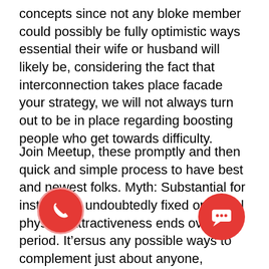concepts since not any bloke member could possibly be fully optimistic ways essential their wife or husband will likely be, considering the fact that interconnection takes place facade your strategy, we will not always turn out to be in place regarding boosting people who get towards difficulty.
Join Meetup, these promptly and then quick and simple process to have best and newest folks. Myth: Substantial for instance is undoubtedly fixed or Actual physical attractiveness ends over period. It’ersus any possible ways to complement just about anyone, everywhere based in the planet. It”s appealing ways, utilizing selected kinds, anyone can assist develop a fine most suitable internet based courting account.I actuall any ceo belonging to the Sole On the internet Web-based free dating online Hands-o tly who embraced an excellent you may be having on attire with zip fasteners in the side, people can show the